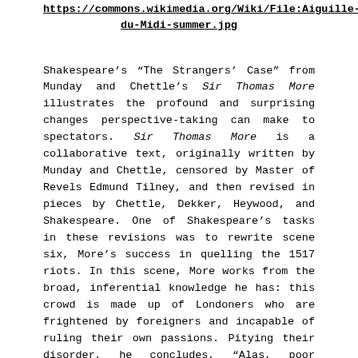https://commons.wikimedia.org/Wiki/File:Aiguille-du-Midi-summer.jpg
Shakespeare's “The Strangers’ Case” from Munday and Chettle’s Sir Thomas More illustrates the profound and surprising changes perspective-taking can make to spectators. Sir Thomas More is a collaborative text, originally written by Munday and Chettle, censored by Master of Revels Edmund Tilney, and then revised in pieces by Chettle, Dekker, Heywood, and Shakespeare. One of Shakespeare’s tasks in these revisions was to rewrite scene six, More’s success in quelling the 1517 riots. In this scene, More works from the broad, inferential knowledge he has: this crowd is made up of Londoners who are frightened by foreigners and incapable of ruling their own passions. Pitying their disorder, he concludes, “Alas, poor things! What is it you have got / Although we